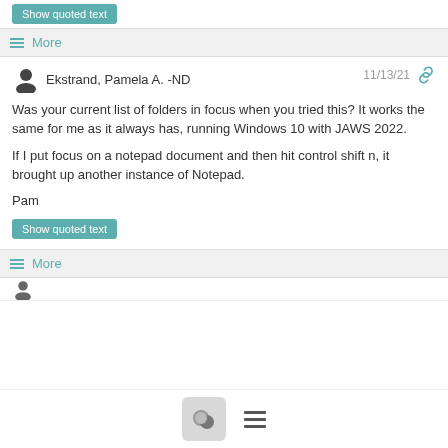Show quoted text
≡ More
Ekstrand, Pamela A. -ND  11/13/21
Was your current list of folders in focus when you tried this?  It works the same for me as it always has, running Windows 10 with JAWS 2022.

If I put focus on a notepad document and then hit control shift n, it brought up another instance of Notepad.

Pam
Show quoted text
≡ More